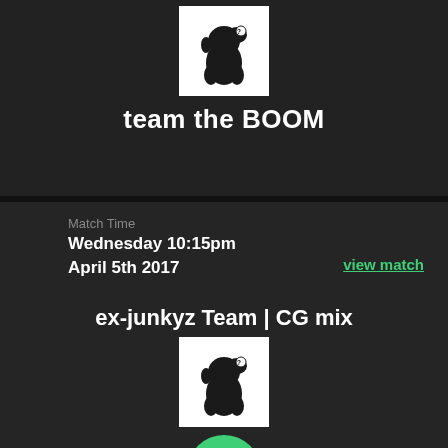[Figure (logo): Black dinosaur/Yoshi silhouette with question mark on white background - team logo for 'team the BOOM']
team the BOOM
Match Time
Wednesday 10:15pm
April 5th 2017
view match
ex-junkyz Team | CG mix
[Figure (logo): Black dinosaur/Yoshi silhouette with question mark on white background - team logo for opposing team]
2 - 0
[Figure (logo): Black dinosaur/Yoshi silhouette with question mark on white background - partially visible at bottom]